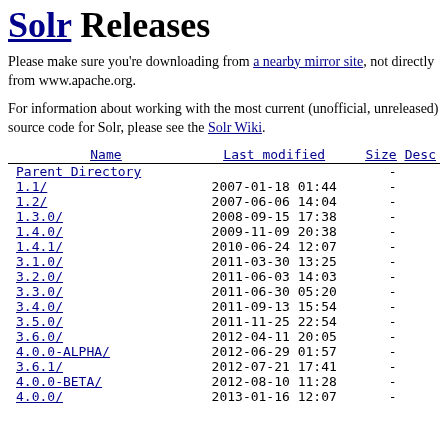Solr Releases
Please make sure you're downloading from a nearby mirror site, not directly from www.apache.org.
For information about working with the most current (unofficial, unreleased) source code for Solr, please see the Solr Wiki.
| Name | Last modified | Size | Desc |
| --- | --- | --- | --- |
| Parent Directory |  | - |  |
| 1.1/ | 2007-01-18 01:44 | - |  |
| 1.2/ | 2007-06-06 14:04 | - |  |
| 1.3.0/ | 2008-09-15 17:38 | - |  |
| 1.4.0/ | 2009-11-09 20:38 | - |  |
| 1.4.1/ | 2010-06-24 12:07 | - |  |
| 3.1.0/ | 2011-03-30 13:25 | - |  |
| 3.2.0/ | 2011-06-03 14:03 | - |  |
| 3.3.0/ | 2011-06-30 05:20 | - |  |
| 3.4.0/ | 2011-09-13 15:54 | - |  |
| 3.5.0/ | 2011-11-25 22:54 | - |  |
| 3.6.0/ | 2012-04-11 20:05 | - |  |
| 4.0.0-ALPHA/ | 2012-06-29 01:57 | - |  |
| 3.6.1/ | 2012-07-21 17:41 | - |  |
| 4.0.0-BETA/ | 2012-08-10 11:28 | - |  |
| 4.0.0/ | 2013-01-16 12:07 | - |  |